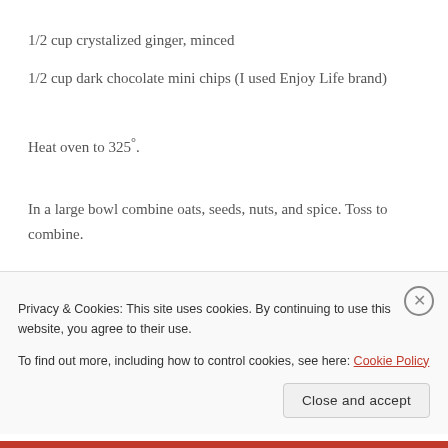1/2 cup crystalized ginger, minced
1/2 cup dark chocolate mini chips (I used Enjoy Life brand)
Heat oven to 325°.
In a large bowl combine oats, seeds, nuts, and spice. Toss to combine.
Place oil and molasses in a small bowl and microwave 30-45 seconds, until coconut oil is fully melted. Stir to combine and pour over dry ingredients, tossing thoroughly until granola is evenly coated.
Privacy & Cookies: This site uses cookies. By continuing to use this website, you agree to their use.
To find out more, including how to control cookies, see here: Cookie Policy
Close and accept